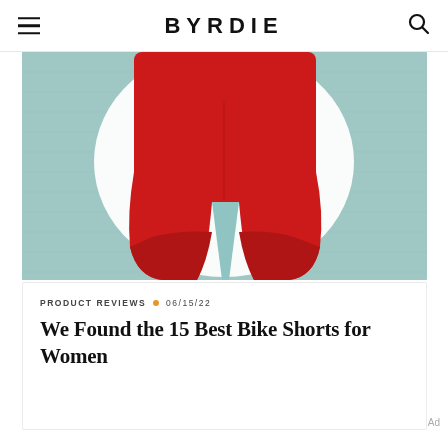BYRDIE
[Figure (photo): Red bike shorts on a light teal/blue textured background, shown from waist down with cuffed hems]
PRODUCT REVIEWS · 06/15/22
We Found the 15 Best Bike Shorts for Women
Ad